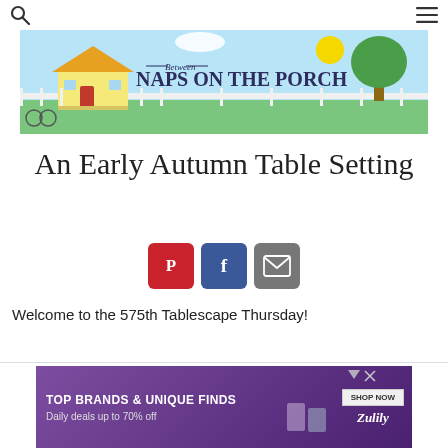Between Naps on the Porch — blog header banner
An Early Autumn Table Setting
[Figure (infographic): Three social sharing buttons: Pinterest (red), Facebook (blue), Email (gray)]
Welcome to the 575th Tablescape Thursday!
[Figure (infographic): Advertisement banner: TOP BRANDS & UNIQUE FINDS, Daily deals up to 70% off, SHOP NOW button, Zulily logo, with product images]